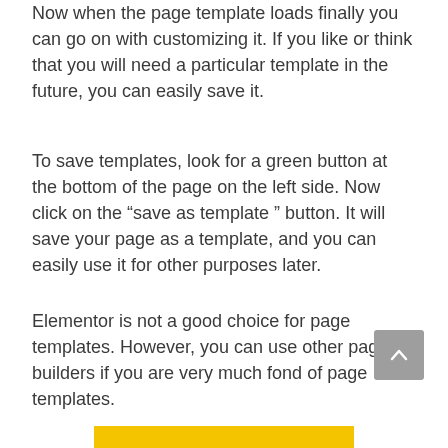Now when the page template loads finally you can go on with customizing it. If you like or think that you will need a particular template in the future, you can easily save it.
To save templates, look for a green button at the bottom of the page on the left side. Now click on the “save as template ” button. It will save your page as a template, and you can easily use it for other purposes later.
Elementor is not a good choice for page templates. However, you can use other page builders if you are very much fond of page templates.